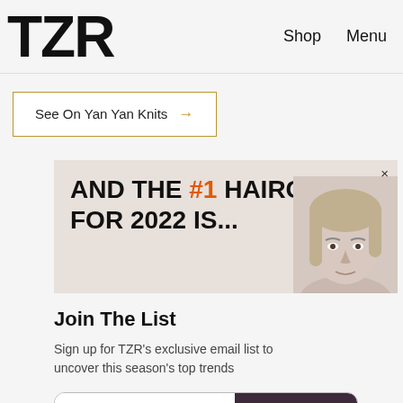TZR   Shop   Menu
See On Yan Yan Knits →
[Figure (infographic): Advertisement banner with text 'AND THE #1 HAIRCUT FOR 2022 IS...' with a woman's face on the right side. Has a close (×) button in the top right.]
Join The List
Sign up for TZR's exclusive email list to uncover this season's top trends
Email address   Subscribe